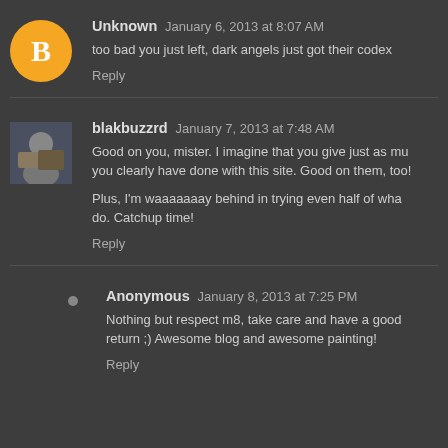Unknown January 6, 2013 at 8:07 AM
too bad you just left, dark angels just got their codex
Reply
blakbuzzrd January 7, 2013 at 7:48 AM
Good on you, mister. I imagine that you give just as mu... you clearly have done with this site. Good on them, too!
Plus, I'm waaaaaaay behind in trying even half of wha... do. Catchup time!
Reply
Anonymous January 8, 2013 at 7:25 PM
Nothing but respect m8, take care and have a good return ;) Awesome blog and awesome painting!
Reply